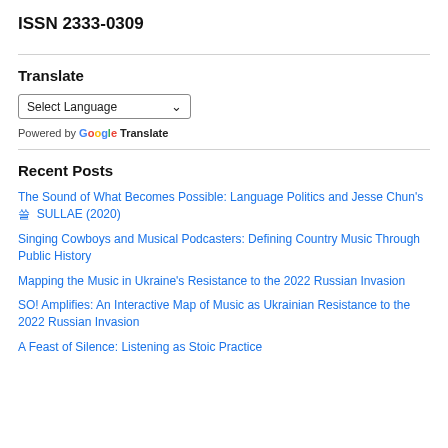ISSN 2333-0309
Translate
[Figure (screenshot): A language selection dropdown widget showing 'Select Language' with a dropdown arrow, and 'Powered by Google Translate' text below.]
Recent Posts
The Sound of What Becomes Possible: Language Politics and Jesse Chun's 쓸  SULLAE (2020)
Singing Cowboys and Musical Podcasters: Defining Country Music Through Public History
Mapping the Music in Ukraine's Resistance to the 2022 Russian Invasion
SO! Amplifies: An Interactive Map of Music as Ukrainian Resistance to the 2022 Russian Invasion
A Feast of Silence: Listening as Stoic Practice